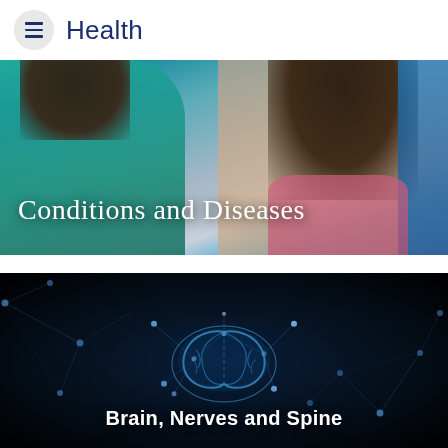Health
[Figure (photo): Healthcare provider examining a young female patient; nurse wearing teal scrubs, glasses and lanyard leans toward smiling girl in pink top; blue curtain background. Overlay text: Conditions and Diseases]
Conditions and Diseases
[Figure (photo): Dark background with glowing blue digital brain connected by network nodes and lines. Overlay text: Brain, Nerves and Spine]
Brain, Nerves and Spine